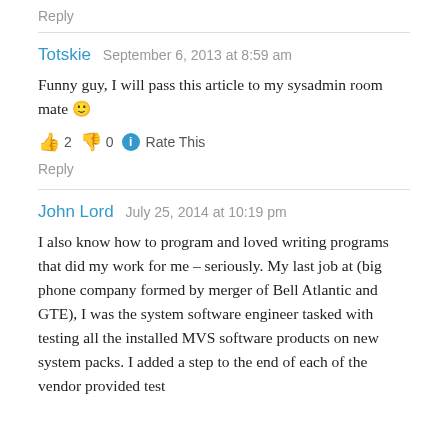Reply
Totskie   September 6, 2013 at 8:59 am
Funny guy, I will pass this article to my sysadmin room mate 🙂
👍 2 👎 0 ℹ Rate This
Reply
John Lord   July 25, 2014 at 10:19 pm
I also know how to program and loved writing programs that did my work for me – seriously. My last job at (big phone company formed by merger of Bell Atlantic and GTE), I was the system software engineer tasked with testing all the installed MVS software products on new system packs. I added a step to the end of each of the vendor provided test